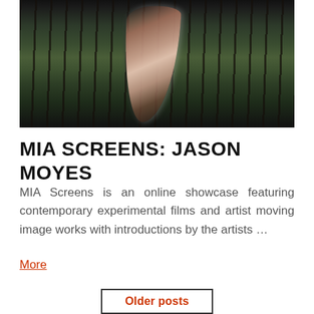[Figure (photo): A dark cinematic still from a video work — a large curved feather or wing-like form in the center, against a forest background with tall thin trees and green undergrowth. Black borders at top and bottom.]
MIA SCREENS: JASON MOYES
MIA Screens is an online showcase featuring contemporary experimental films and artist moving image works with introductions by the artists …
More
Older posts